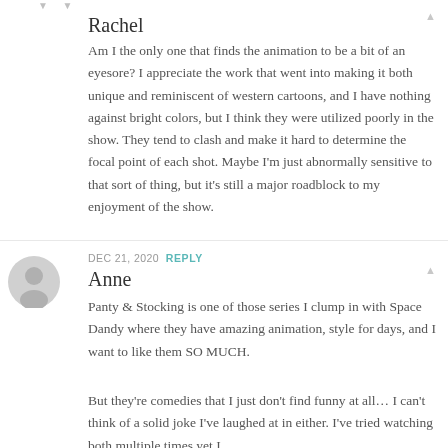▼ ▼
Rachel
Am I the only one that finds the animation to be a bit of an eyesore? I appreciate the work that went into making it both unique and reminiscent of western cartoons, and I have nothing against bright colors, but I think they were utilized poorly in the show. They tend to clash and make it hard to determine the focal point of each shot. Maybe I'm just abnormally sensitive to that sort of thing, but it's still a major roadblock to my enjoyment of the show.
DEC 21, 2020  REPLY
Anne
Panty & Stocking is one of those series I clump in with Space Dandy where they have amazing animation, style for days, and I want to like them SO MUCH.
But they're comedies that I just don't find funny at all… I can't think of a solid joke I've laughed at in either. I've tried watching both multiple times yet I